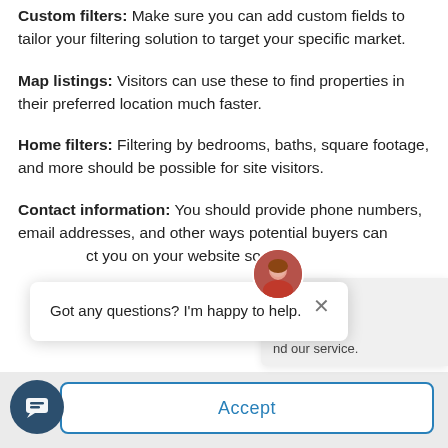Custom filters: Make sure you can add custom fields to tailor your filtering solution to target your specific market.
Map listings: Visitors can use these to find properties in their preferred location much faster.
Home filters: Filtering by bedrooms, baths, square footage, and more should be possible for site visitors.
Contact information: You should provide phone numbers, email addresses, and other ways potential buyers can contact you on your website so that
[Figure (screenshot): Chat popup overlay showing avatar image, close button (×), and text 'Got any questions? I'm happy to help.']
Consent
nd our service.
Accept